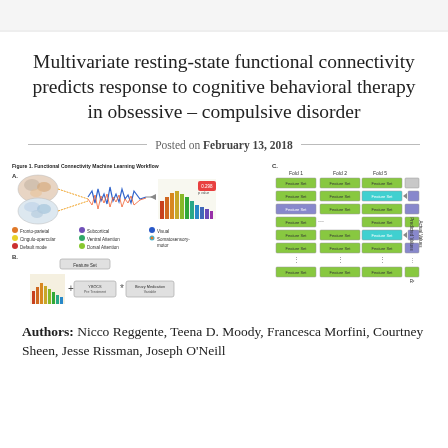Multivariate resting-state functional connectivity predicts response to cognitive behavioral therapy in obsessive – compulsive disorder
Posted on February 13, 2018
[Figure (infographic): Figure 1. Functional Connectivity Machine Learning Workflow. Panel A shows brain images connected to a time-series waveform and a bar chart with p-value 0.298. Legend shows color-coded brain networks: Fronto-parietal, Cingulo-opercular, Default mode, Subcortical, Ventral Attention, Dorsal Attention, Visual, Somatosensory-motor. Panel B shows Feature Set diagram with YBOCS Pre-Treatment and Binary Medication Variable. Panel C shows cross-validation fold diagram with Feature Sets across Fold 1, Fold 2, Fold 5, with arrows to Predicted Values and Actual Values axes and R² label.]
Authors: Nicco Reggente, Teena D. Moody, Francesca Morfini, Courtney Sheen, Jesse Rissman, Joseph O'Neill